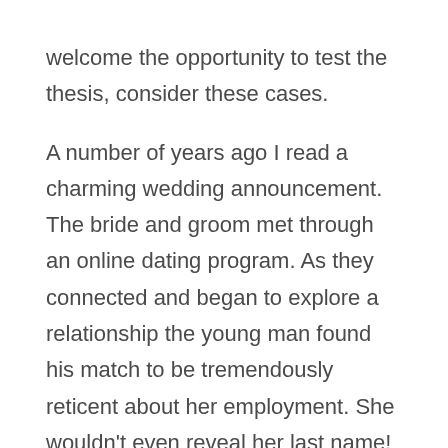welcome the opportunity to test the thesis, consider these cases.

A number of years ago I read a charming wedding announcement. The bride and groom met through an online dating program. As they connected and began to explore a relationship the young man found his match to be tremendously reticent about her employment. She wouldn’t even reveal her last name! He finally concluded that she worked for an intelligence agency and only hoped it was the CIA rather than the KGB. Once she trusted him,